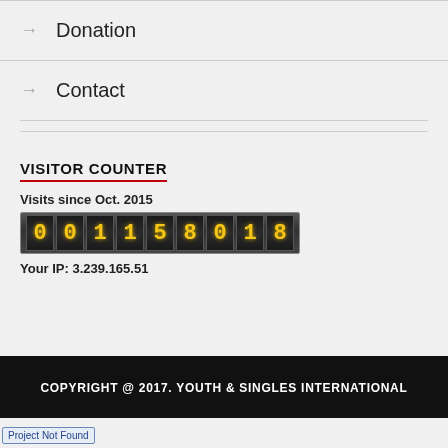→ Donation
→ Contact
VISITOR COUNTER
Visits since Oct. 2015
[Figure (other): Odometer-style visitor counter displaying: 001158018]
Your IP: 3.239.165.51
COPYRIGHT @ 2017. YOUTH & SINGLES INTERNATIONAL
Project Not Found